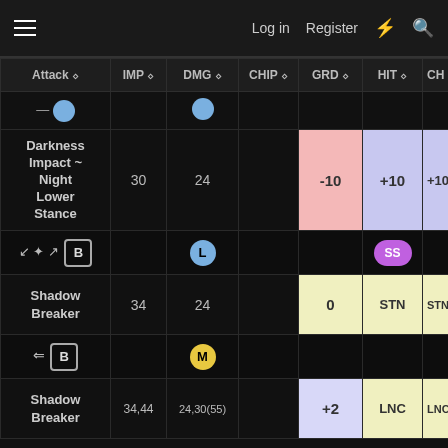Log in  Register
| Attack | IMP | DMG | CHIP | GRD | HIT | CH |
| --- | --- | --- | --- | --- | --- | --- |
| — |  |  |  |  |  |  |
| Darkness Impact ~ Night Lower Stance | 30 | 24 |  | -10 | +10 | +10 |
| [icons row] |  | L |  |  | SS |  |
| Shadow Breaker | 34 | 24 |  | 0 | STN | STN |
| [icons row] |  | M |  |  |  |  |
| Shadow Breaker | 34,44 | 24,30(55) |  | +2 | LNC | LNC |